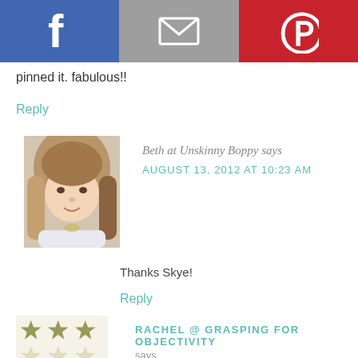[Figure (other): Social sharing bar with Facebook (blue), Email (gray), and Pinterest (red) buttons with icons]
pinned it. fabulous!!
Reply
[Figure (photo): Profile photo of Beth at Unskinny Boppy - woman with long brown hair]
Beth at Unskinny Boppy says
AUGUST 13, 2012 AT 10:23 AM
Thanks Skye!
Reply
[Figure (illustration): Geometric star/snowflake pattern avatar for Rachel @ Grasping for Objectivity]
RACHEL @ GRASPING FOR OBJECTIVITY says
AUGUST 13, 2012 AT 1:42 PM